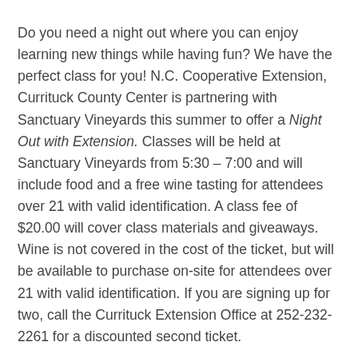Do you need a night out where you can enjoy learning new things while having fun? We have the perfect class for you! N.C. Cooperative Extension, Currituck County Center is partnering with Sanctuary Vineyards this summer to offer a Night Out with Extension. Classes will be held at Sanctuary Vineyards from 5:30 – 7:00 and will include food and a free wine tasting for attendees over 21 with valid identification. A class fee of $20.00 will cover class materials and giveaways. Wine is not covered in the cost of the ticket, but will be available to purchase on-site for attendees over 21 with valid identification. If you are signing up for two, call the Currituck Extension Office at 252-232-2261 for a discounted second ticket.